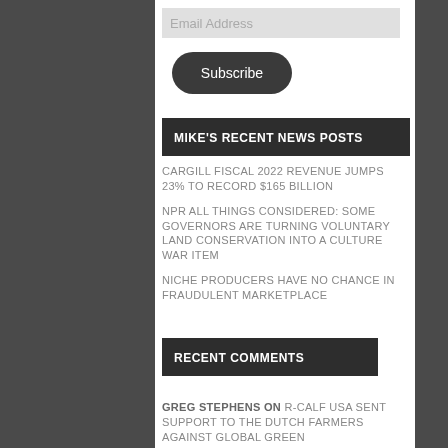Email Address
Subscribe
MIKE'S RECENT NEWS POSTS
CARGILL FISCAL 2022 REVENUE JUMPS 23% TO RECORD $165 BILLION
NPR ALL THINGS CONSIDERED: SOME GOVERNORS ARE TURNING VOLUNTARY LAND CONSERVATION INTO A CULTURE WAR ITEM
NICHE PRODUCERS HAVE NO CHANCE IN FRAUDULENT MARKETPLACE
RECENT COMMENTS
GREG STEPHENS ON R-CALF USA SENT SUPPORT TO THE DUTCH FARMERS AGAINST GLOBAL GREEN